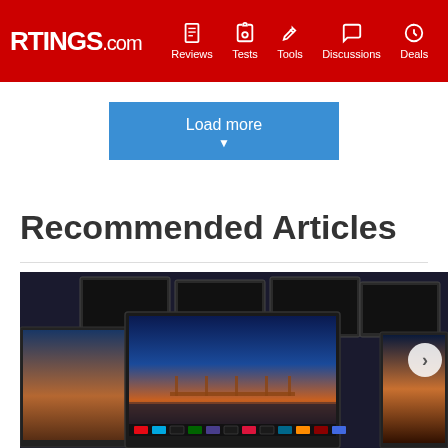RTINGS.com | Reviews | Tests | Tools | Discussions | Deals
Load more
Recommended Articles
[Figure (photo): Multiple televisions displayed in a dark room, with the center TV showing a colorful sunset pier scene and smart TV app icons at the bottom]